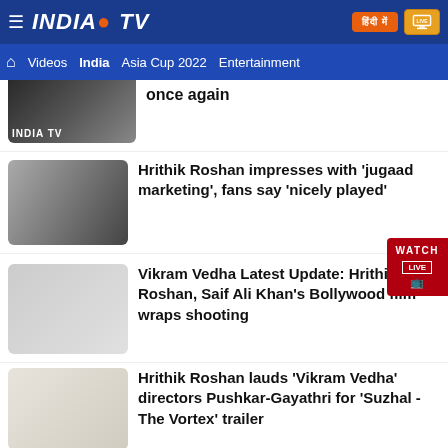[Figure (screenshot): India TV news website header with logo, navigation, and news articles about Hrithik Roshan and Vikram Vedha]
INDIA TV — Videos | India | Asia Cup 2022 | Entertainment
once again
Hrithik Roshan impresses with 'jugaad marketing', fans say 'nicely played'
Vikram Vedha Latest Update: Hrithik Roshan, Saif Ali Khan's Bollywood film wraps shooting
Hrithik Roshan lauds 'Vikram Vedha' directors Pushkar-Gayathri for 'Suzhal - The Vortex' trailer